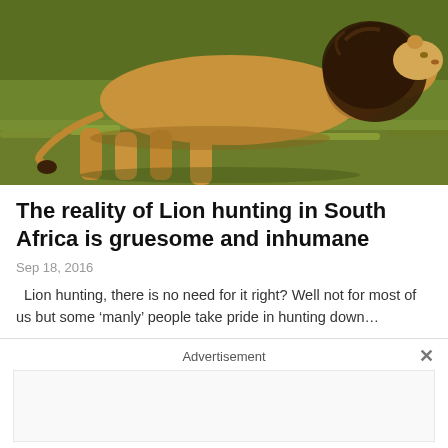[Figure (photo): A male lion walking on grass in South Africa, photographed from the side showing its dark mane and muscular body]
The reality of Lion hunting in South Africa is gruesome and inhumane
Sep 18, 2016
Lion hunting, there is no need for it right? Well not for most of us but some ‘manly’ people take pride in hunting down…
Advertisement